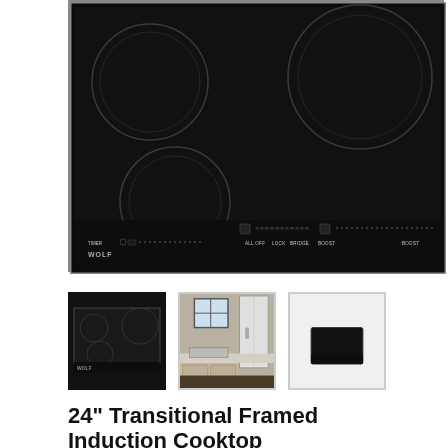[Figure (photo): Main product image of a Wolf 24 inch black induction cooktop with framed glass surface, showing 4 burner zones and touch controls along the bottom right]
[Figure (photo): Thumbnail 1 (selected): Front view of the black induction cooktop]
[Figure (photo): Thumbnail 2: Kitchen scene showing the cooktop installed in a white kitchen with sink and cabinetry]
[Figure (photo): Thumbnail 3: Small black induction cooktop on white background]
24" Transitional Framed Induction Cooktop